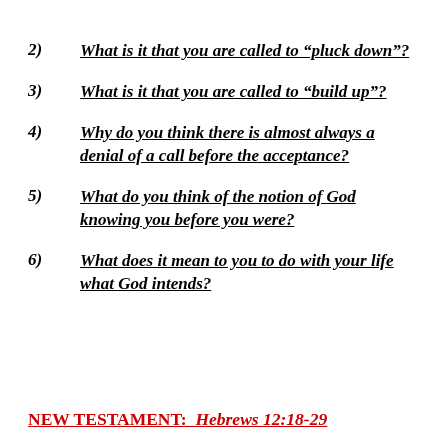2)  What is it that you are called to "pluck down"?
3)  What is it that you are called to "build up"?
4)  Why do you think there is almost always a denial of a call before the acceptance?
5)  What do you think of the notion of God knowing you before you were?
6)  What does it mean to you to do with your life what God intends?
NEW TESTAMENT:  Hebrews 12:18-29